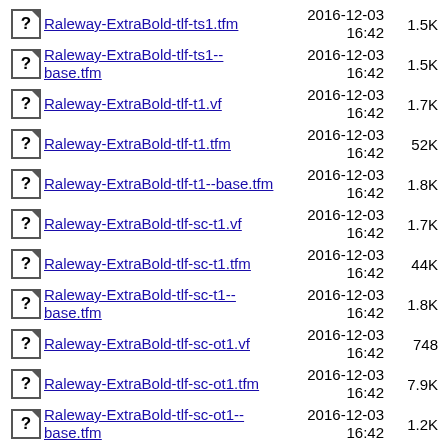Raleway-ExtraBold-tlf-ts1.tfm  2016-12-03 16:42  1.5K
Raleway-ExtraBold-tlf-ts1--base.tfm  2016-12-03 16:42  1.5K
Raleway-ExtraBold-tlf-t1.vf  2016-12-03 16:42  1.7K
Raleway-ExtraBold-tlf-t1.tfm  2016-12-03 16:42  52K
Raleway-ExtraBold-tlf-t1--base.tfm  2016-12-03 16:42  1.8K
Raleway-ExtraBold-tlf-sc-t1.vf  2016-12-03 16:42  1.7K
Raleway-ExtraBold-tlf-sc-t1.tfm  2016-12-03 16:42  44K
Raleway-ExtraBold-tlf-sc-t1--base.tfm  2016-12-03 16:42  1.8K
Raleway-ExtraBold-tlf-sc-ot1.vf  2016-12-03 16:42  748
Raleway-ExtraBold-tlf-sc-ot1.tfm  2016-12-03 16:42  7.9K
Raleway-ExtraBold-tlf-sc-ot1--base.tfm  2016-12-03 16:42  1.2K
Raleway-ExtraBold-tlf-sc-  2016-12-03